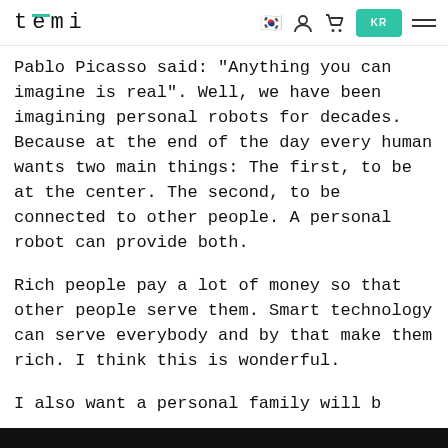temi [nav icons: Korean flag, user, cart, KR button, hamburger menu]
Pablo Picasso said: "Anything you can imagine is real". Well, we have been imagining personal robots for decades. Because at the end of the day every human wants two main things: The first, to be at the center. The second, to be connected to other people. A personal robot can provide both.
Rich people pay a lot of money so that other people serve them. Smart technology can serve everybody and by that make them rich. I think this is wonderful.
[text continues, partially visible]